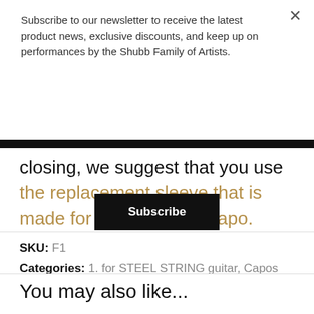Subscribe to our newsletter to receive the latest product news, exclusive discounts, and keep up on performances by the Shubb Family of Artists.
Subscribe
closing, we suggest that you use the replacement sleeve that is made for the FineTune capo.
SKU: F1
Categories: 1. for STEEL STRING guitar, Capos
You may also like...